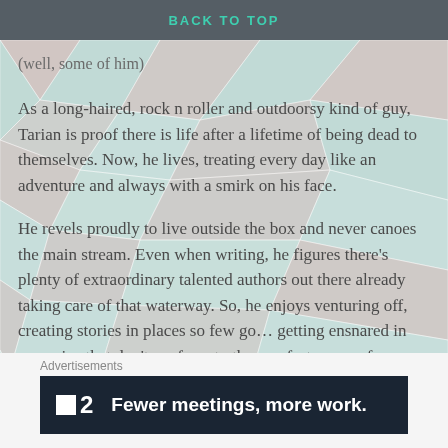BACK TO TOP
(well, some of him)
As a long-haired, rock n roller and outdoorsy kind of guy, Tarian is proof there is life after a lifetime of being dead to themselves. Now, he lives, treating every day like an adventure and always with a smirk on his face.
He revels proudly to live outside the box and never canoes the main stream. Even when writing, he figures there's plenty of extraordinary talented authors out there already taking care of that waterway. So, he enjoys venturing off, creating stories in places so few go… getting ensnared in scenarios that don't conform to the comfort zones of familiarity. It's what makes writing a pleasure for him.
Advertisements
[Figure (other): Advertisement banner: F2 logo with text 'Fewer meetings, more work.' on dark navy background]